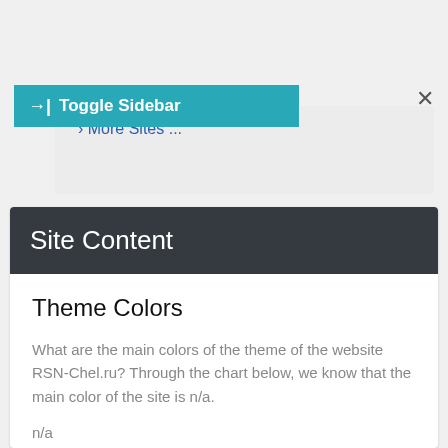[Figure (screenshot): Toggle Sidebar button (teal/cyan colored bar with arrow icon and text 'Toggle Sidebar') overlaid on a light gray dropdown panel showing 'More Sites ...' link in blue, with a close (×) button on the right side.]
Site Content
Theme Colors
What are the main colors of the theme of the website RSN-Chel.ru? Through the chart below, we know that the main color of the site is n/a.
n/a